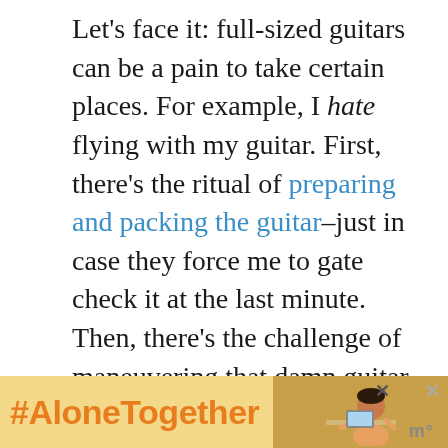Let's face it: full-sized guitars can be a pain to take certain places. For example, I hate flying with my guitar. First, there's the ritual of preparing and packing the guitar–just in case they force me to gate check it at the last minute. Then, there's the challenge of maneuvering that damn guitar case between people, chairs, and luggage… and then trying to negotiate a place for it inside the cabin, etc. Ugh!
I finally got fed up with it all and bought a compact electric travel guitar for such
[Figure (other): Advertisement banner with '#AloneTogether' hashtag in orange on yellow background, with a photo of a person and close buttons]